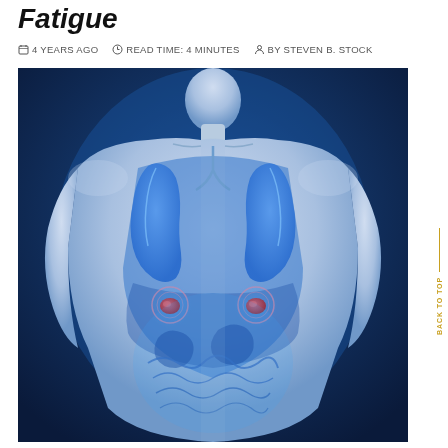Fatigue
4 YEARS AGO   READ TIME: 4 MINUTES   BY STEVEN B. STOCK
[Figure (illustration): Medical illustration of a male human torso with transparent skin showing internal organs including lungs (blue) and highlighted adrenal glands/kidneys (red) on a blue background.]